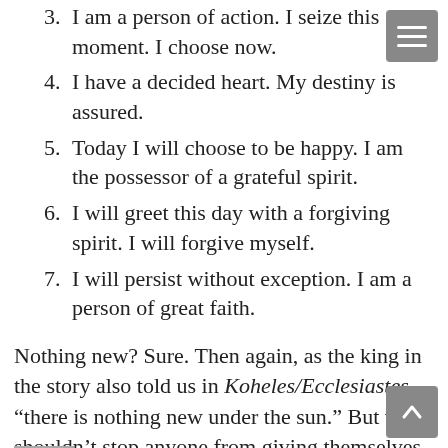3. I am a person of action. I seize this moment. I choose now.
4. I have a decided heart. My destiny is assured.
5. Today I will choose to be happy. I am the possessor of a grateful spirit.
6. I will greet this day with a forgiving spirit. I will forgive myself.
7. I will persist without exception. I am a person of great faith.
Nothing new? Sure. Then again, as the king in the story also told us in Koheles/Ecclesiastes, “there is nothing new under the sun.” But that shouldn’t stop anyone from giving themselves a huge gift, by reading… The Travelers Gift.